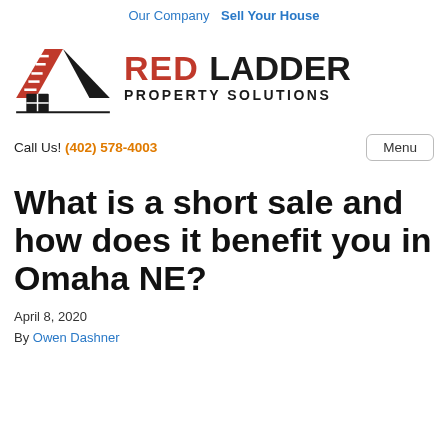Our Company   Sell Your House
[Figure (logo): Red Ladder Property Solutions logo with a stylized red and black house/ladder icon on the left and the company name on the right in bold text.]
Call Us! (402) 578-4003   Menu
What is a short sale and how does it benefit you in Omaha NE?
April 8, 2020
By Owen Dashner